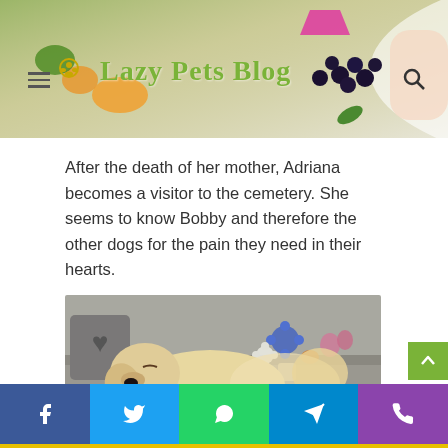[Figure (photo): Header banner image showing food with berries, fruits and a bowl, with logo overlay reading 'Lazy Pets Blog']
After the death of her mother, Adriana becomes a visitor to the cemetery. She seems to know Bobby and therefore the other dogs for the pain they need in their hearts.
[Figure (photo): A sleeping golden retriever puppy at a cemetery with flowers and a heart-shaped stone in the background]
Facebook, Twitter, WhatsApp, Telegram, Phone social share buttons